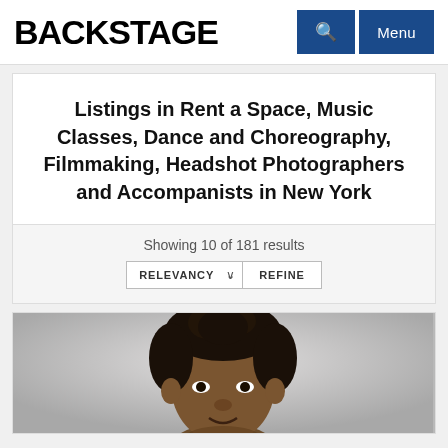BACKSTAGE
Listings in Rent a Space, Music Classes, Dance and Choreography, Filmmaking, Headshot Photographers and Accompanists in New York
Showing 10 of 181 results
[Figure (photo): Headshot photo of a person with dark curly hair, cropped at the shoulders, light gray background]